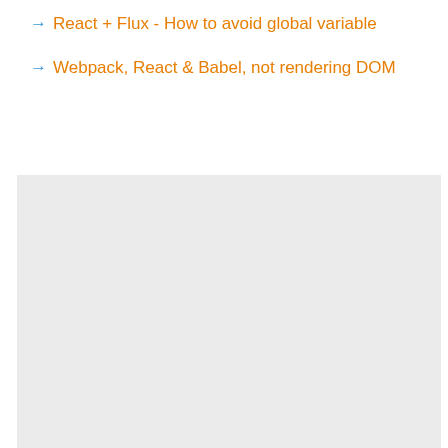→ React + Flux - How to avoid global variable
→ Webpack, React & Babel, not rendering DOM
[Figure (other): Light gray rectangle placeholder image area]